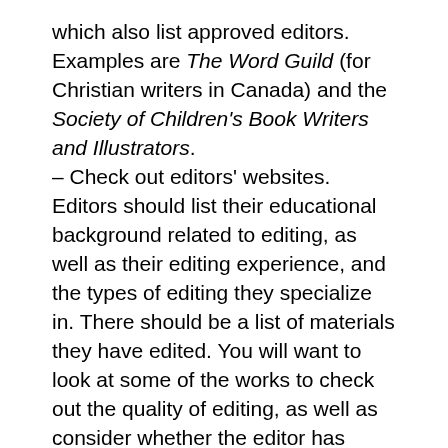which also list approved editors. Examples are The Word Guild (for Christian writers in Canada) and the Society of Children's Book Writers and Illustrators. – Check out editors' websites. Editors should list their educational background related to editing, as well as their editing experience, and the types of editing they specialize in. There should be a list of materials they have edited. You will want to look at some of the works to check out the quality of editing, as well as consider whether the editor has worked with written materials similar to yours. Most editors focus on one or two editing levels, and/or specialize in certain genre(s) and/or writing forms and formats. Check for traditional publishers and literary agents that editors may have worked with or who have published books they edited, as well as self-publishing authors they've worked with. – Also, do an online search for an editor's name. Check out the various sites that mention the author